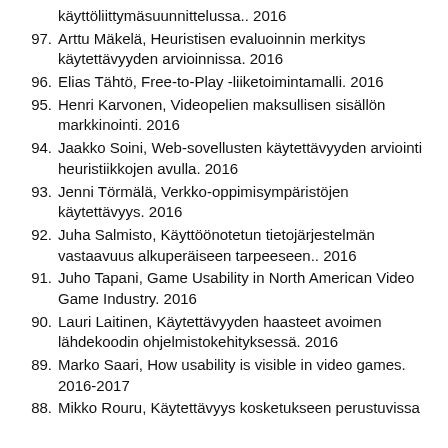käyttöliittymäsuunnittelussa.. 2016
97. Arttu Mäkelä, Heuristisen evaluoinnin merkitys käytettävyyden arvioinnissa. 2016
96. Elias Tähtö, Free-to-Play -liiketoimintamalli. 2016
95. Henri Karvonen, Videopelien maksullisen sisällön markkinointi. 2016
94. Jaakko Soini, Web-sovellusten käytettävyyden arviointi heuristiikkojen avulla. 2016
93. Jenni Törmälä, Verkko-oppimisympäristöjen käytettävyys. 2016
92. Juha Salmisto, Käyttöönotetun tietojärjestelmän vastaavuus alkuperäiseen tarpeeseen.. 2016
91. Juho Tapani, Game Usability in North American Video Game Industry. 2016
90. Lauri Laitinen, Käytettävyyden haasteet avoimen lähdekoodin ohjelmistokehityksessä. 2016
89. Marko Saari, How usability is visible in video games. 2016-2017
88. Mikko Rouru, Käytettävyys kosketukseen perustuvissa